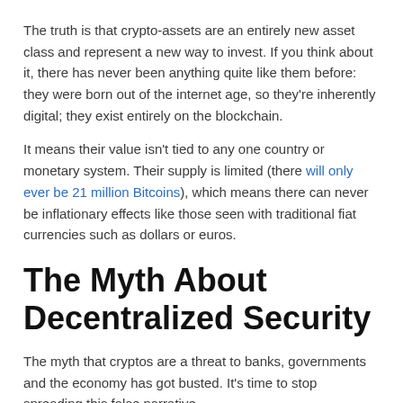The truth is that crypto-assets are an entirely new asset class and represent a new way to invest. If you think about it, there has never been anything quite like them before: they were born out of the internet age, so they're inherently digital; they exist entirely on the blockchain.
It means their value isn't tied to any one country or monetary system. Their supply is limited (there will only ever be 21 million Bitcoins), which means there can never be inflationary effects like those seen with traditional fiat currencies such as dollars or euros.
The Myth About Decentralized Security
The myth that cryptos are a threat to banks, governments and the economy has got busted. It's time to stop spreading this false narrative.
Cryptocurrencies are not a threat to banks because they offer nothing new in terms of financial services that banks can't already